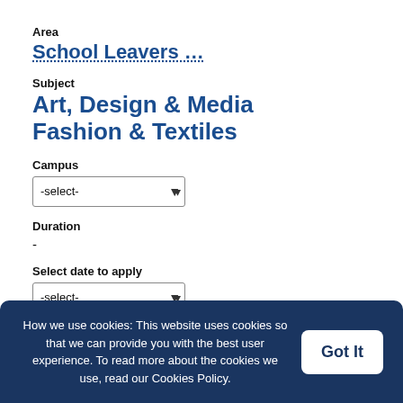Area
School Leavers ⬜
Subject
Art, Design & Media Fashion & Textiles
Campus
-select-
Duration
-
Select date to apply
-select-
How we use cookies: This website uses cookies so that we can provide you with the best user experience. To read more about the cookies we use, read our Cookies Policy.